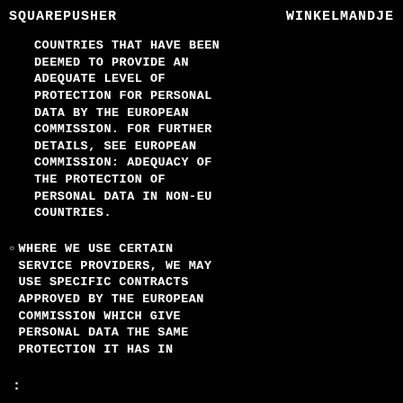SQUAREPUSHER    WINKELMANDJE
COUNTRIES THAT HAVE BEEN DEEMED TO PROVIDE AN ADEQUATE LEVEL OF PROTECTION FOR PERSONAL DATA BY THE EUROPEAN COMMISSION. FOR FURTHER DETAILS, SEE EUROPEAN COMMISSION: ADEQUACY OF THE PROTECTION OF PERSONAL DATA IN NON-EU COUNTRIES.
WHERE WE USE CERTAIN SERVICE PROVIDERS, WE MAY USE SPECIFIC CONTRACTS APPROVED BY THE EUROPEAN COMMISSION WHICH GIVE PERSONAL DATA THE SAME PROTECTION IT HAS IN
: